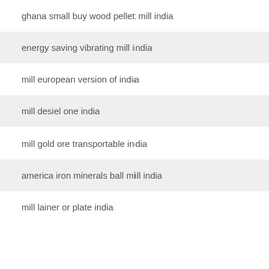ghana small buy wood pellet mill india
energy saving vibrating mill india
mill european version of india
mill desiel one india
mill gold ore transportable india
america iron minerals ball mill india
mill lainer or plate india